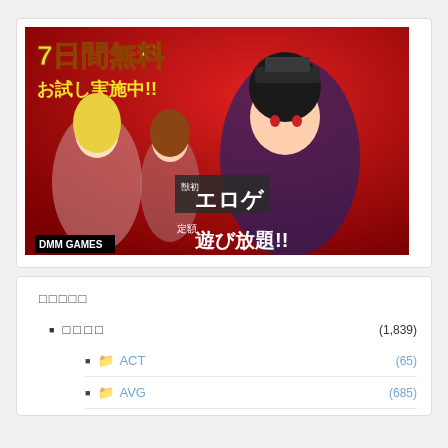[Figure (illustration): DMM GAMES advertisement banner with anime characters. Red background with Japanese text '7日間無料 お試し実施中!!' and 'エロゲ 定額 遊び放題!!' with DMM GAMES logo.]
□□□□□
□□□□ (1,839)
□ ACT (65)
□ AVG (685)